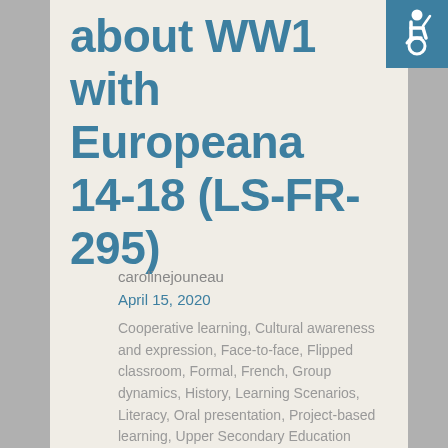[Figure (logo): Accessibility wheelchair icon in white on teal/blue square background, top right corner]
about WW1 with Europeana 14-18 (LS-FR-295)
carolinejouneau
April 15, 2020
Cooperative learning, Cultural awareness and expression, Face-to-face, Flipped classroom, Formal, French, Group dynamics, History, Learning Scenarios, Literacy, Oral presentation, Project-based learning, Upper Secondary Education